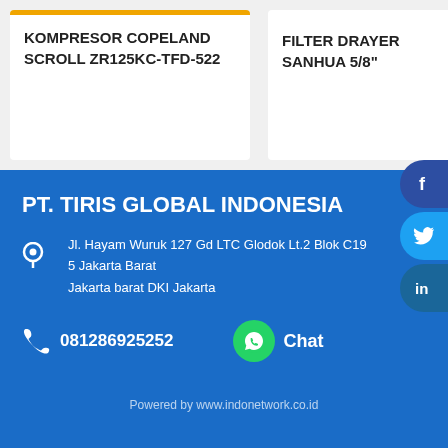KOMPRESOR COPELAND SCROLL ZR125KC-TFD-522
FILTER DRAYER SANHUA 5/8"
PT. TIRIS GLOBAL INDONESIA
Jl. Hayam Wuruk 127 Gd LTC Glodok Lt.2 Blok C19 5 Jakarta Barat
Jakarta barat DKI Jakarta
081286925252
Chat
Powered by www.indonetwork.co.id